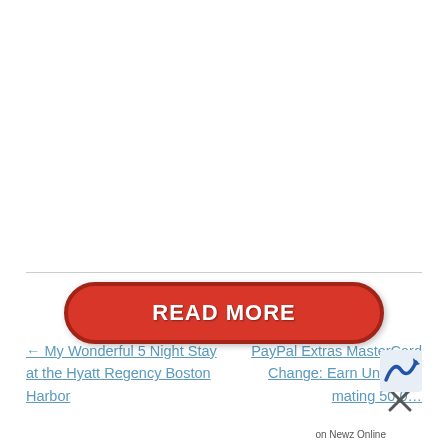← My Wonderful 5 Night Stay at the Hyatt Regency Boston Harbor
PayPal Extras MasterCard Change: Earn Unlimited … mating 50,0…
[Figure (other): Red 'READ MORE' pill-shaped button with white bold text]
on Newz Online